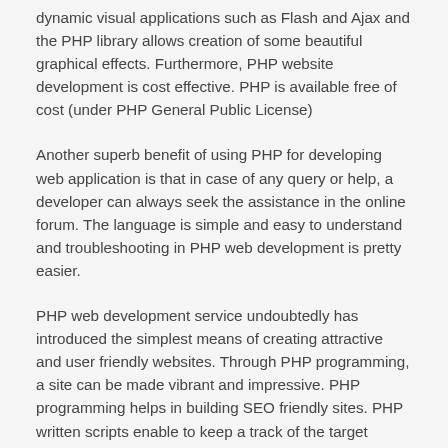dynamic visual applications such as Flash and Ajax and the PHP library allows creation of some beautiful graphical effects. Furthermore, PHP website development is cost effective. PHP is available free of cost (under PHP General Public License)
Another superb benefit of using PHP for developing web application is that in case of any query or help, a developer can always seek the assistance in the online forum. The language is simple and easy to understand and troubleshooting in PHP web development is pretty easier.
PHP web development service undoubtedly has introduced the simplest means of creating attractive and user friendly websites. Through PHP programming, a site can be made vibrant and impressive. PHP programming helps in building SEO friendly sites. PHP written scripts enable to keep a track of the target visitor's activities. The webmasters can obtain feedback from customers as well. PHP helps in active content management system with all ease and convenience.